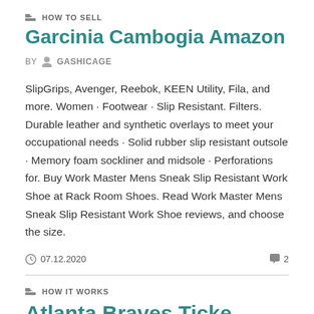HOW TO SELL
Garcinia Cambogia Amazon
BY GASHICAGE
SlipGrips, Avenger, Reebok, KEEN Utility, Fila, and more. Women · Footwear · Slip Resistant. Filters. Durable leather and synthetic overlays to meet your occupational needs · Solid rubber slip resistant outsole · Memory foam sockliner and midsole · Perforations for. Buy Work Master Mens Sneak Slip Resistant Work Shoe at Rack Room Shoes. Read Work Master Mens Sneak Slip Resistant Work Shoe reviews, and choose the size.
07.12.2020  2
HOW IT WORKS
Atlanta Braves Tickets